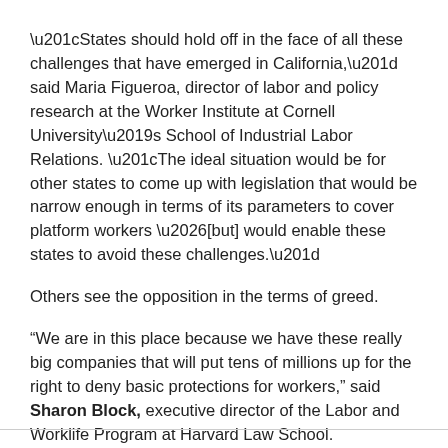“States should hold off in the face of all these challenges that have emerged in California,” said Maria Figueroa, director of labor and policy research at the Worker Institute at Cornell University’s School of Industrial Labor Relations. “The ideal situation would be for other states to come up with legislation that would be narrow enough in terms of its parameters to cover platform workers …[but] would enable these states to avoid these challenges.”
Others see the opposition in the terms of greed.
“We are in this place because we have these really big companies that will put tens of millions up for the right to deny basic protections for workers,” said Sharon Block, executive director of the Labor and Worklife Program at Harvard Law School.